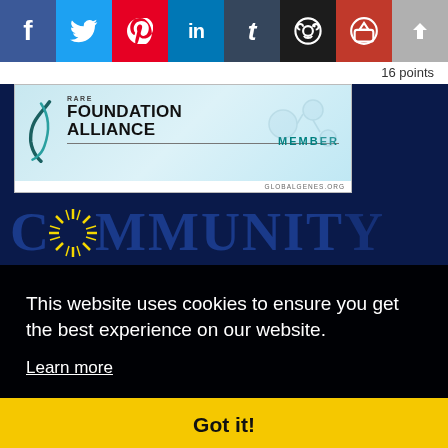[Figure (screenshot): Social media share buttons bar: Facebook (blue), Twitter (cyan), Pinterest (red), LinkedIn (blue), Tumblr (dark), Reddit (dark), Pocket (red), Upload/share (gray), and a cyan arrow-right button]
16 points
[Figure (logo): Rare Foundation Alliance Member badge from globalgenes.org — teal/blue banner with swoosh logo, bold text FOUNDATION ALLIANCE, MEMBER in teal, and URL globalgenes.org]
[Figure (screenshot): Community logo text on dark navy blue background — partial view of COMMUNITY word in large serif letters with sunburst graphic replacing one letter]
This website uses cookies to ensure you get the best experience on our website.
Learn more
Got it!
MEMBER